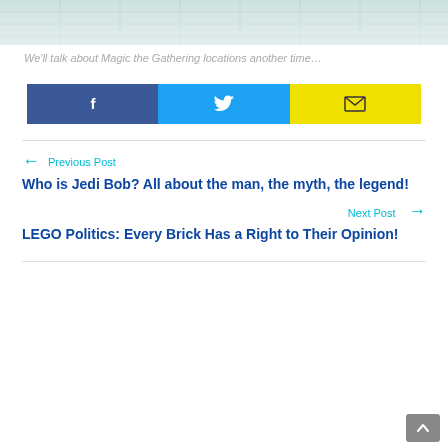[Figure (photo): Top portion of an image showing a light-colored tiled floor scene]
We'll talk about Magic the Gathering locations another time…
[Figure (infographic): Three social share buttons: Facebook (blue), Twitter (cyan), Email (yellow)]
← Previous Post
Who is Jedi Bob? All about the man, the myth, the legend!
Next Post →
LEGO Politics: Every Brick Has a Right to Their Opinion!